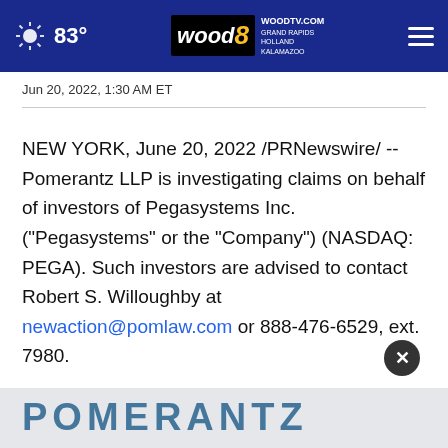83° WOODTV.COM wood8 GRAND RAPIDS HOLLAND KALAMAZOO
Jun 20, 2022, 1:30 AM ET
NEW YORK, June 20, 2022 /PRNewswire/ -- Pomerantz LLP is investigating claims on behalf of investors of Pegasystems Inc. ("Pegasystems" or the "Company") (NASDAQ: PEGA). Such investors are advised to contact Robert S. Willoughby at newaction@pomlaw.com or 888-476-6529, ext. 7980.
[Figure (logo): POMERANTZ logo in teal/blue letters on gray background, partially visible at bottom of page]